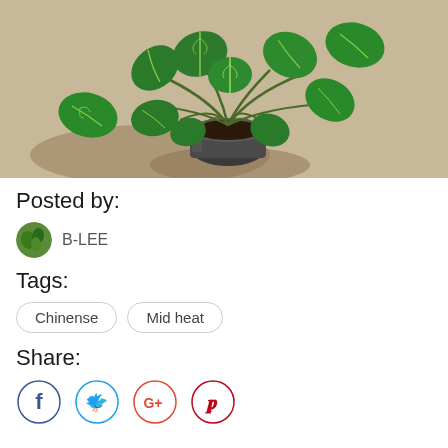[Figure (photo): A green leafy pothos plant in a metallic/reflective pot sitting on a beige carpet, photographed from above at an angle. The plant has heart-shaped leaves with light veins.]
Posted by:
B-LEE
Tags:
Chinense
Mid heat
Share: